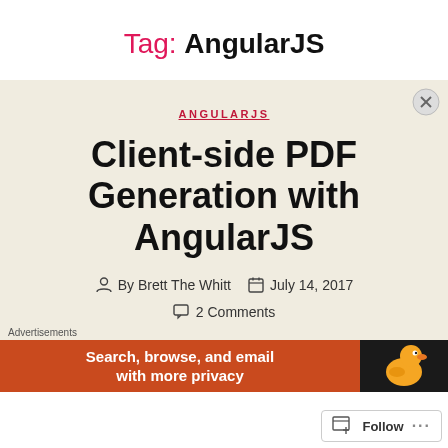Tag: AngularJS
ANGULARJS
Client-side PDF Generation with AngularJS
By Brett The Whitt   July 14, 2017
2 Comments
Advertisements
Search, browse, and email with more privacy